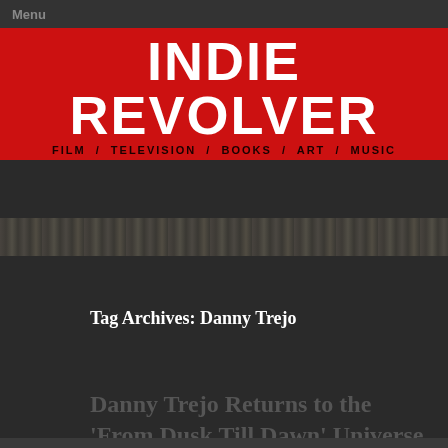Menu
INDIE REVOLVER
FILM / TELEVISION / BOOKS / ART / MUSIC
[Figure (photo): Blurred/dark horizontal image strip serving as a decorative banner]
Tag Archives: Danny Trejo
Danny Trejo Returns to the ‘From Dusk Till Dawn’ Universe
Posted on  March 12, 2015   Standard   Reply